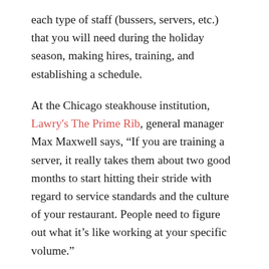each type of staff (bussers, servers, etc.) that you will need during the holiday season, making hires, training, and establishing a schedule.
At the Chicago steakhouse institution, Lawry's The Prime Rib, general manager Max Maxwell says, “If you are training a server, it really takes them about two good months to start hitting their stride with regard to service standards and the culture of your restaurant. People need to figure out what it’s like working at your specific volume.”
Every year, the teams at Marta and Maialino let their scheduling manager know which holidays they would prefer to have off and which ones they don’t mind working. “It ends up working out 99% of the time that